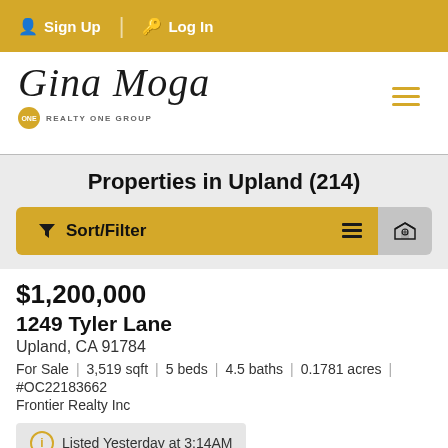Sign Up | Log In
[Figure (logo): Gina Moga Realty One Group logo with cursive script text and gold badge]
Properties in Upland (214)
Sort/Filter (button), list view and map view toggle buttons
$1,200,000
1249 Tyler Lane
Upland, CA 91784
For Sale | 3,519 sqft | 5 beds | 4.5 baths | 0.1781 acres |
#OC22183662
Frontier Realty Inc
Listed Yesterday at 3:14AM